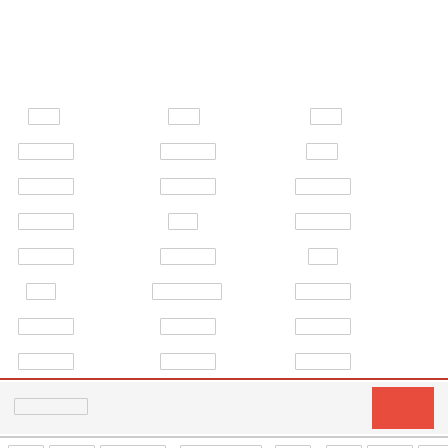[Figure (other): Grid of placeholder redacted text boxes arranged in three columns across multiple rows, with a red horizontal rule, a highlighted bar with a red square, and a footer row with redacted text blocks.]